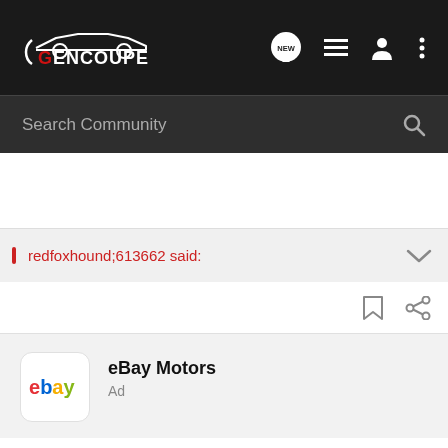[Figure (logo): GenCoupe forum logo with car silhouette on dark navigation bar]
Search Community
redfoxhound;613662 said:
[Figure (logo): eBay Motors ad logo]
eBay Motors
Ad
Have a project in the works?
Get every part and accessory your ride needs.